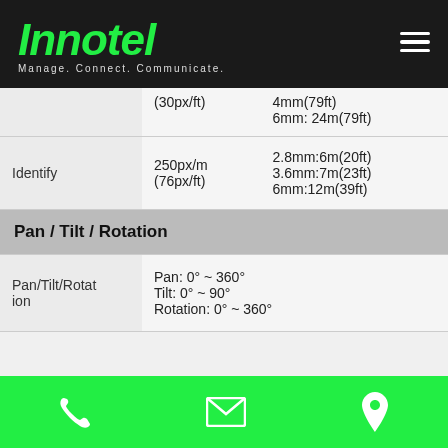Innotel – Manage. Connect. Communicate.
|  |  |  |
| --- | --- | --- |
|  | (30px/ft) | 4mm(79ft)
6mm: 24m(79ft) |
| Identify | 250px/m
(76px/ft) | 2.8mm:6m(20ft)
3.6mm:7m(23ft)
6mm:12m(39ft) |
| Pan / Tilt / Rotation |  |  |
| Pan/Tilt/Rotation | Pan: 0° ~ 360°
Tilt: 0° ~ 90°
Rotation: 0° ~ 360° |  |
Phone | Email | Location